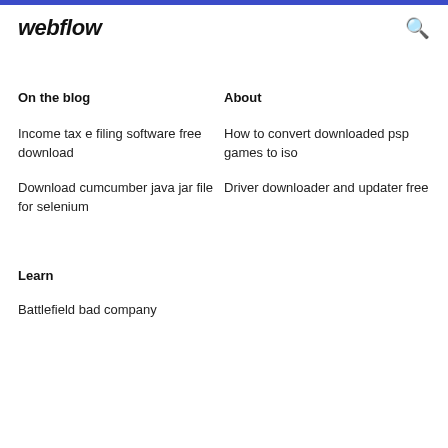webflow
On the blog
About
Income tax e filing software free download
How to convert downloaded psp games to iso
Download cumcumber java jar file for selenium
Driver downloader and updater free
Learn
Battlefield bad company